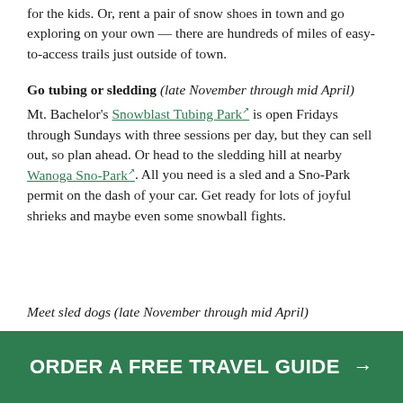for the kids. Or, rent a pair of snow shoes in town and go exploring on your own — there are hundreds of miles of easy-to-access trails just outside of town.
Go tubing or sledding (late November through mid April)
Mt. Bachelor's Snowblast Tubing Park is open Fridays through Sundays with three sessions per day, but they can sell out, so plan ahead. Or head to the sledding hill at nearby Wanoga Sno-Park. All you need is a sled and a Sno-Park permit on the dash of your car. Get ready for lots of joyful shrieks and maybe even some snowball fights.
Meet sled dogs (late November through mid April)
ORDER A FREE TRAVEL GUIDE →